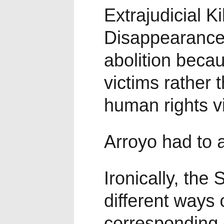Extrajudicial Killings and Enforced Disappearances, recommended its abolition because it targeted “the victims rather than the perpetrators” of human rights violations.
Arroyo had to abolish IALAG.
Ironically, the Supreme Court acted in different ways on our two petitions, with corresponding consequences.
Whereas in 2007 it repudiated the IALAG by ordering the